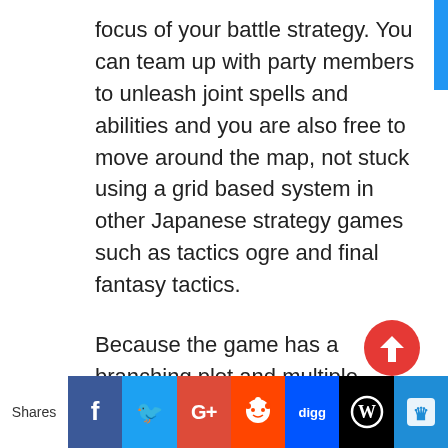focus of your battle strategy. You can team up with party members to unleash joint spells and abilities and you are also free to move around the map, not stuck using a grid based system in other Japanese strategy games such as tactics ogre and final fantasy tactics.
Because the game has a branching plot and multiple endings, there are some things which may happen in battle which would typically be a gameover in most games, but in this case, the game goes on (not always, haha sometimes it REALLY IS a gameover lol.) – Sometimes though this can throw you off the